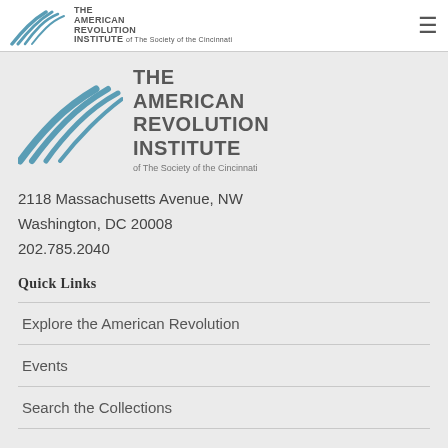The American Revolution Institute of The Society of the Cincinnati
[Figure (logo): The American Revolution Institute of The Society of the Cincinnati logo with flowing wave lines in teal/blue]
2118 Massachusetts Avenue, NW
Washington, DC 20008
202.785.2040
Quick Links
Explore the American Revolution
Events
Search the Collections